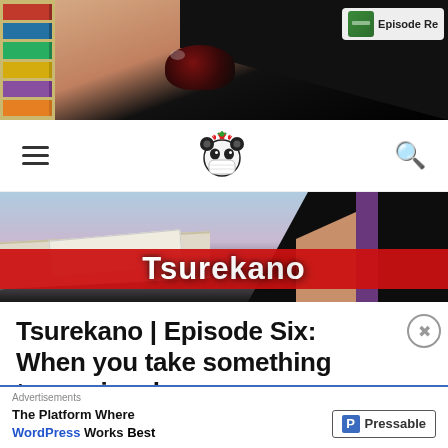[Figure (screenshot): Cropped anime screenshot showing a dark-haired female character's face from close up, with bookshelves on the left. An 'Episode Re' badge appears in the top right corner.]
[Figure (screenshot): Website navigation bar with hamburger menu icon on left, a panda mascot logo in center, and search icon on right. White background.]
[Figure (screenshot): Tsurekano anime banner image showing a dark-haired female character at a desk, with a bold red stripe and white text reading 'Tsurekano' overlaid.]
Tsurekano | Episode Six: When you take something too seriously
Advertisements
The Platform Where WordPress Works Best